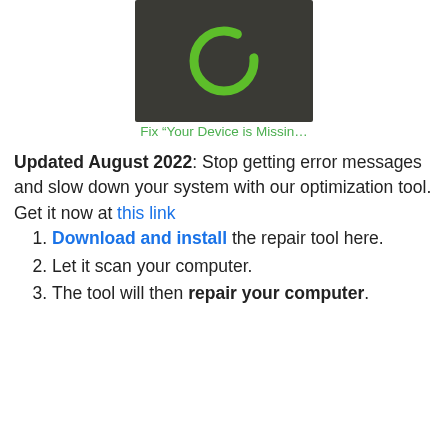[Figure (screenshot): Dark background with a green circular loading/refresh icon (incomplete circle arc) centered on a dark brownish-gray background]
Fix “Your Device is Missin…
Updated August 2022: Stop getting error messages and slow down your system with our optimization tool. Get it now at this link
Download and install the repair tool here.
Let it scan your computer.
The tool will then repair your computer.